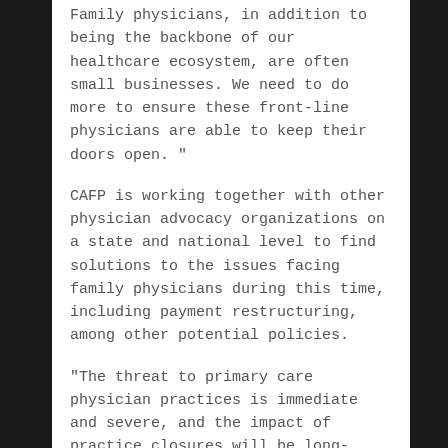Family physicians, in addition to being the backbone of our healthcare ecosystem, are often small businesses. We need to do more to ensure these front-line physicians are able to keep their doors open. "
CAFP is working together with other physician advocacy organizations on a state and national level to find solutions to the issues facing family physicians during this time, including payment restructuring, among other potential policies.
"The threat to primary care physician practices is immediate and severe, and the impact of practice closures will be long-lasting and incredibly detrimental to the health and well-being of the communities they serve. We urge public and private payers to act